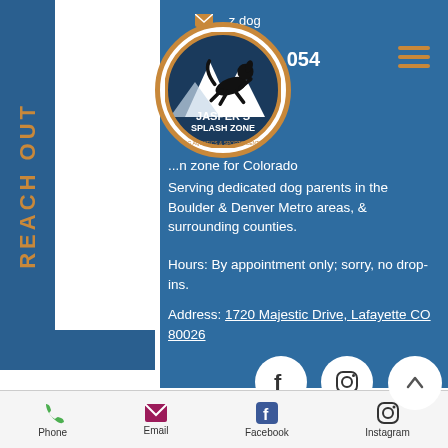REACH OUT
[Figure (logo): Jasper's Splash Zone circular logo with dog silhouette jumping over mountains, orange border, text: JASPER'S SPLASH ZONE, DOG AQUATICS & SPORTS CENTER]
...z.dog
...054
...n zone for Colorado
Serving dedicated dog parents in the Boulder & Denver Metro areas, & surrounding counties.
Hours: By appointment only; sorry, no drop-ins.
Address: 1720 Majestic Drive, Lafayette CO 80026
[Figure (illustration): Facebook and Instagram social media icons (white circles with f and camera icons)]
BOOK NOW
Phone  Email  Facebook  Instagram